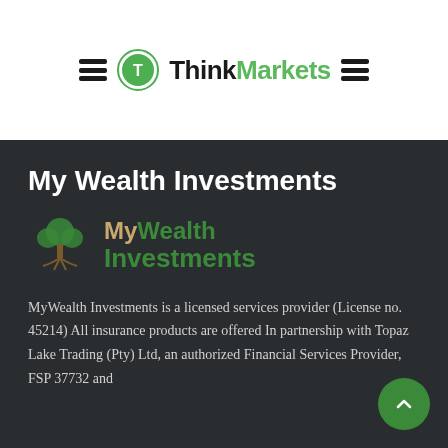[Figure (logo): ThinkMarkets logo with green circle icon, hamburger menus on both sides, and ThinkMarkets text in black and green]
My Wealth Investments
[Figure (logo): MyWealth Investments logo with tree icon, 'My' in tan/gold, 'Wealth' in green, 'Investments' in green]
MyWealth Investments is a licensed services provider (License no. 45214) All insurance products are offered In partnership with Topaz Lake Trading (Pty) Ltd, an authorized Financial Services Provider, FSP 37732 and